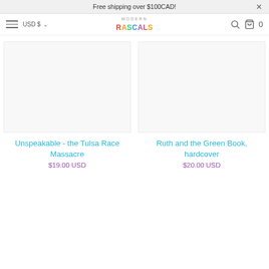Free shipping over $100CAD!
USD $ ▾
[Figure (logo): Modern Rascals colorful logo]
Unspeakable - the Tulsa Race Massacre $19.00 USD
Ruth and the Green Book, hardcover $20.00 USD